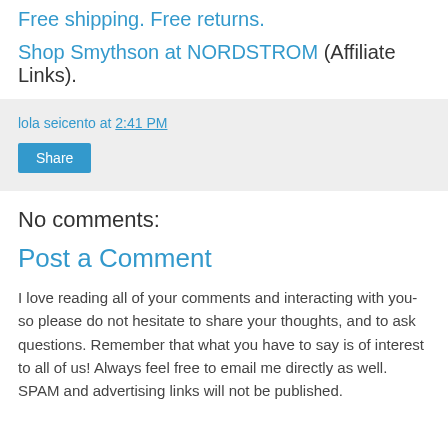Free shipping. Free returns.
Shop Smythson at NORDSTROM (Affiliate Links).
lola seicento at 2:41 PM
Share
No comments:
Post a Comment
I love reading all of your comments and interacting with you- so please do not hesitate to share your thoughts, and to ask questions. Remember that what you have to say is of interest to all of us! Always feel free to email me directly as well. SPAM and advertising links will not be published.